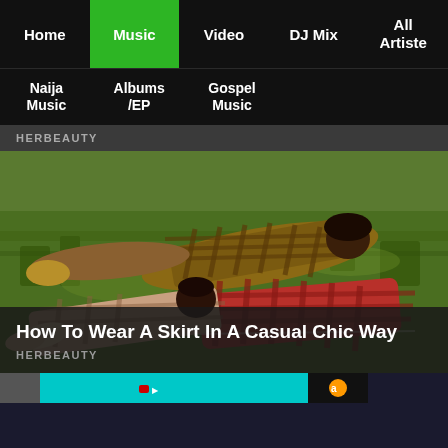Home | Music | Video | DJ Mix | All Artiste
Naija Music | Albums /EP | Gospel Music
HERBEAUTY
[Figure (photo): Two Black women wearing plaid/checkered outfits lying on green grass in a field]
How To Wear A Skirt In A Casual Chic Way
HERBEAUTY